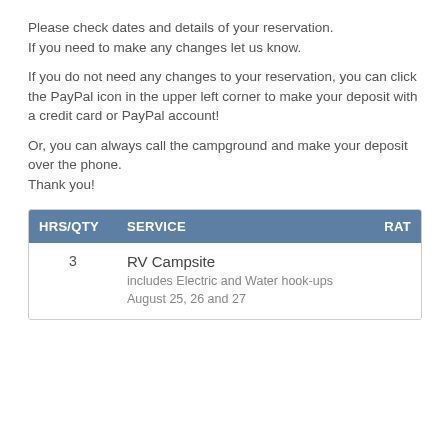Please check dates and details of your reservation. If you need to make any changes let us know.
If you do not need any changes to your reservation, you can click the PayPal icon in the upper left corner to make your deposit with a credit card or PayPal account!
Or, you can always call the campground and make your deposit over the phone.
Thank you!
| HRS/QTY | SERVICE | RAT |
| --- | --- | --- |
| 3 | RV Campsite
includes Electric and Water hook-ups
August 25, 26 and 27 |  |